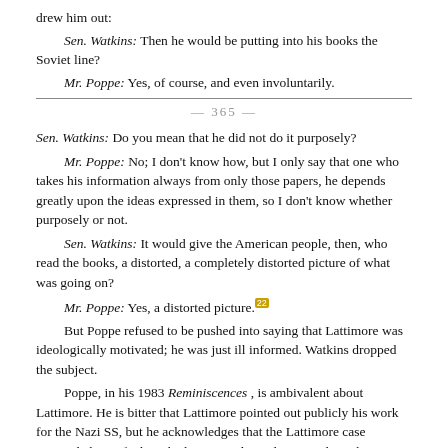drew him out:
Sen. Watkins: Then he would be putting into his books the Soviet line?
Mr. Poppe: Yes, of course, and even involuntarily.
— 365 —
Sen. Watkins: Do you mean that he did not do it purposely?
Mr. Poppe: No; I don't know how, but I only say that one who takes his information always from only those papers, he depends greatly upon the ideas expressed in them, so I don't know whether purposely or not.
Sen. Watkins: It would give the American people, then, who read the books, a distorted, a completely distorted picture of what was going on?
Mr. Poppe: Yes, a distorted picture.[22]
But Poppe refused to be pushed into saying that Lattimore was ideologically motivated; he was just ill informed. Watkins dropped the subject.
Poppe, in his 1983 Reminiscences , is ambivalent about Lattimore. He is bitter that Lattimore pointed out publicly his work for the Nazi SS, but he acknowledges that the Lattimore case "reminded me of what I had witnessed on a larger scale in the Soviet Union. . . . His case should never have happened because under the provisions of the Constitution of the United States, Lattimore had the right to express any opinions, even controversial ones."[23]
Having put into the record, and the headlines, a long series of anti-Lattimore testimony, SISS was Finally ready for its chief target. Between February 26 and March 21, 1952, SISS engaged Owen